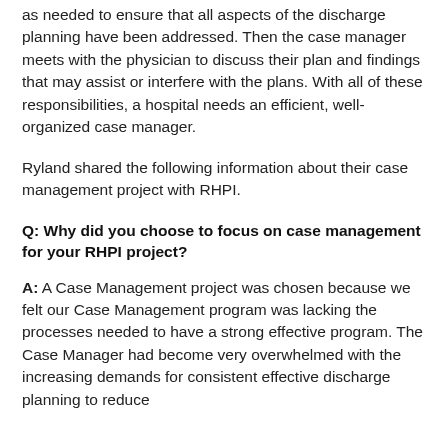as needed to ensure that all aspects of the discharge planning have been addressed. Then the case manager meets with the physician to discuss their plan and findings that may assist or interfere with the plans. With all of these responsibilities, a hospital needs an efficient, well-organized case manager.
Ryland shared the following information about their case management project with RHPI.
Q: Why did you choose to focus on case management for your RHPI project?
A: A Case Management project was chosen because we felt our Case Management program was lacking the processes needed to have a strong effective program. The Case Manager had become very overwhelmed with the increasing demands for consistent effective discharge planning to reduce